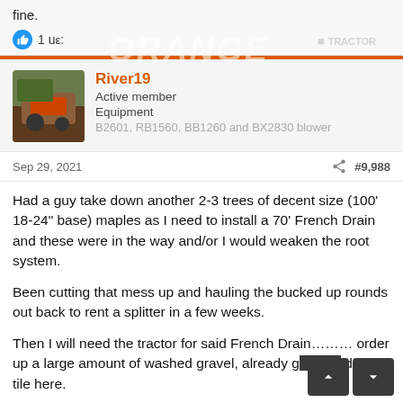fine.
1 user
River19
Active member
Equipment
B2601, RB1560, BB1260 and BX2830 blower
Sep 29, 2021
#9,988
Had a guy take down another 2-3 trees of decent size (100’ 18-24” base) maples as I need to install a 70’ French Drain and these were in the way and/or I would weaken the root system.
Been cutting that mess up and hauling the bucked up rounds out back to rent a splitter in a few weeks.
Then I will need the tractor for said French Drain……… order up a large amount of washed gravel, already g… drain tile here.